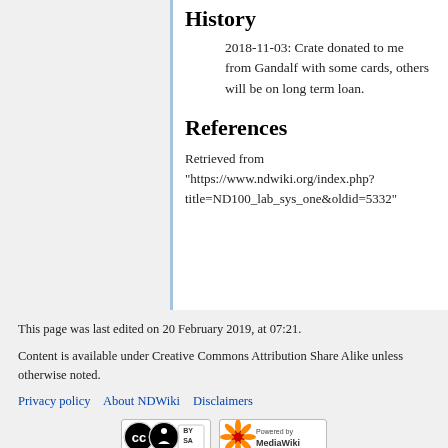History
2018-11-03: Crate donated to me from Gandalf with some cards, others will be on long term loan.
References
Retrieved from "https://www.ndwiki.org/index.php?title=ND100_lab_sys_one&oldid=5332"
This page was last edited on 20 February 2019, at 07:21.
Content is available under Creative Commons Attribution Share Alike unless otherwise noted.
Privacy policy   About NDWiki   Disclaimers